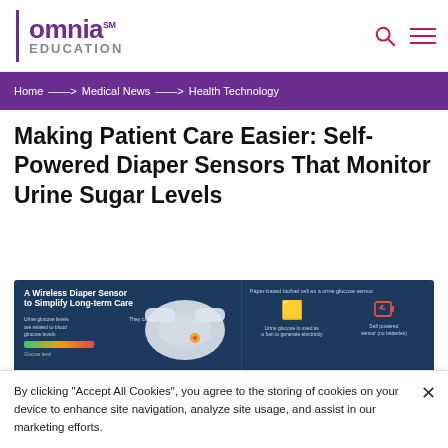omnia EDUCATION
Home → Medical News → Health Technology
Making Patient Care Easier: Self-Powered Diaper Sensors That Monitor Urine Sugar Levels
[Figure (infographic): Infographic titled 'A Wireless Diaper Sensor to Simplify Long-term Care' showing urine glucose levels related to blood glucose levels with a color gradient bar, a diaper illustration, and information about paper-based biofuel cell as a urine glucose sensor. Explains that urine glucose is used as a fuel to generate electricity for a self-powered sensor (no batteries).]
By clicking "Accept All Cookies", you agree to the storing of cookies on your device to enhance site navigation, analyze site usage, and assist in our marketing efforts.